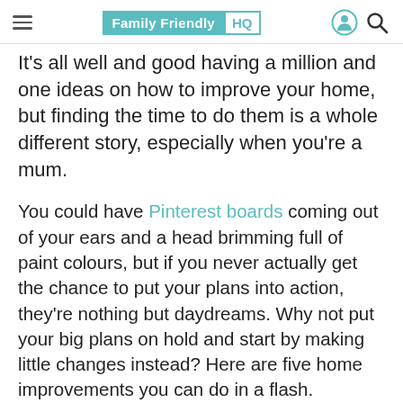Family Friendly HQ
It's all well and good having a million and one ideas on how to improve your home, but finding the time to do them is a whole different story, especially when you're a mum.
You could have Pinterest boards coming out of your ears and a head brimming full of paint colours, but if you never actually get the chance to put your plans into action, they're nothing but daydreams. Why not put your big plans on hold and start by making little changes instead? Here are five home improvements you can do in a flash.